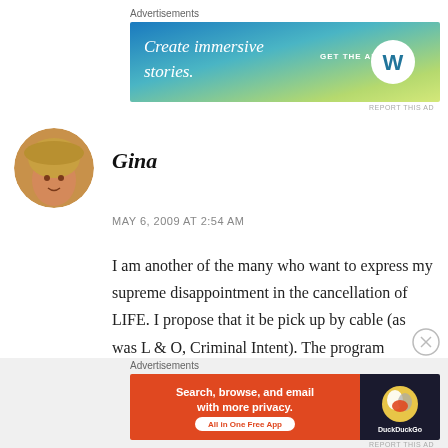[Figure (infographic): WordPress 'Create immersive stories' advertisement banner with teal-to-yellow gradient background, white text, GET THE APP CTA and WordPress logo]
[Figure (photo): Circular avatar photo of Gina, a woman wearing a hat, warm tones]
Gina
MAY 6, 2009 AT 2:54 AM
I am another of the many who want to express my supreme disappointment in the cancellation of LIFE. I propose that it be pick up by cable (as was L & O, Criminal Intent). The program offered quirky characters with a
[Figure (infographic): DuckDuckGo advertisement banner: orange left side with 'Search, browse, and email with more privacy. All in One Free App', dark right side with DuckDuckGo logo and label]